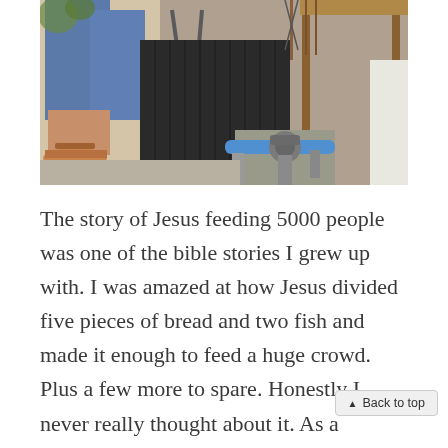[Figure (photo): Outdoor scene showing a person's lower legs and feet wearing sandals/flip-flops, standing near a metal folding stand and a wooden table structure with water pipes and plumbing fixtures visible in the background.]
The story of Jesus feeding 5000 people was one of the bible stories I grew up with. I was amazed at how Jesus divided five pieces of bread and two fish and made it enough to feed a huge crowd. Plus a few more to spare. Honestly I never really thought about it. As a Catholic, I never really questioned done. My faith taught me that with God, nothing was